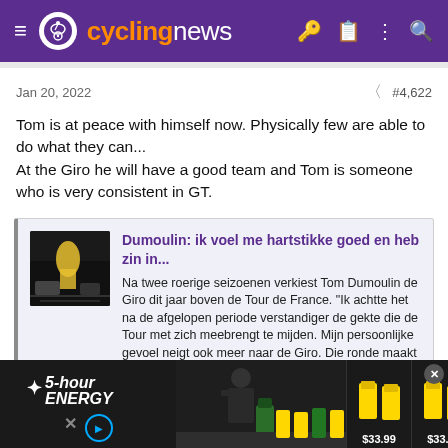cyclingnews
Jan 20, 2022  #4,622
Tom is at peace with himself now. Physically few are able to do what they can...
At the Giro he will have a good team and Tom is someone who is very consistent in GT.
[Figure (screenshot): Embedded article card with thumbnail image: Dumoulin: ik voel me hartstikke goed en heb zin in... with Dutch article text and link to www.teamjumbovisma.nl]
[Figure (photo): 5-hour Energy advertisement banner at the bottom showing 5-hour Energy products at $33.99, $33.99, $58.90]